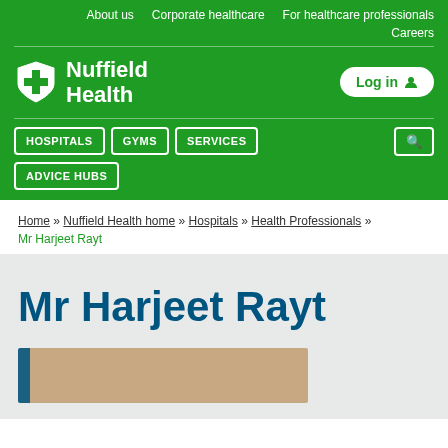About us  Corporate healthcare  For healthcare professionals  Careers
[Figure (logo): Nuffield Health logo with shield icon and white text]
HOSPITALS  GYMS  SERVICES  ADVICE HUBS
Home » Nuffield Health home » Hospitals » Health Professionals »
Mr Harjeet Rayt
Mr Harjeet Rayt
[Figure (photo): Partial photo of Mr Harjeet Rayt, partially visible at bottom of page]